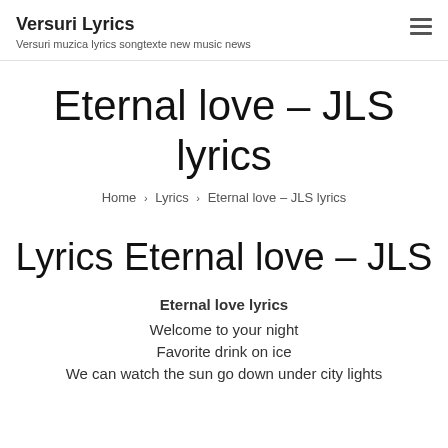Versuri Lyrics
Versuri muzica lyrics songtexte new music news
Eternal love – JLS lyrics
Home › Lyrics › Eternal love – JLS lyrics
Lyrics Eternal love – JLS
Eternal love lyrics
Welcome to your night
Favorite drink on ice
We can watch the sun go down under city lights